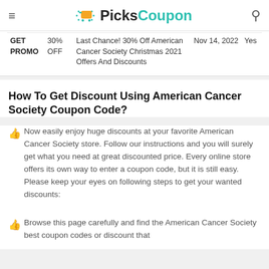PicksCoupon
| Type | Discount | Description | Date | Verified |
| --- | --- | --- | --- | --- |
| GET PROMO | 30% OFF | Last Chance! 30% Off American Cancer Society Christmas 2021 Offers And Discounts | Nov 14, 2022 | Yes |
How To Get Discount Using American Cancer Society Coupon Code?
Now easily enjoy huge discounts at your favorite American Cancer Society store. Follow our instructions and you will surely get what you need at great discounted price. Every online store offers its own way to enter a coupon code, but it is still easy. Please keep your eyes on following steps to get your wanted discounts:
Browse this page carefully and find the American Cancer Society best coupon codes or discount that